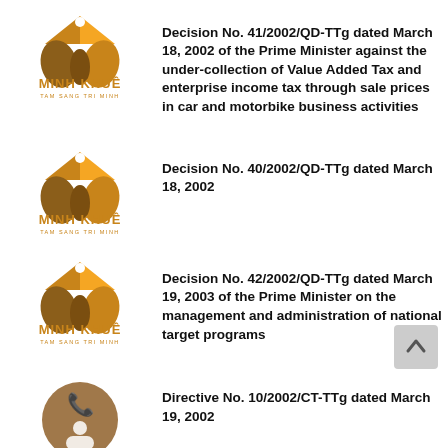[Figure (logo): Minh Khue law firm logo with golden roof/diamond shape and TAM SANG TRI MINH tagline]
Decision No. 41/2002/QD-TTg dated March 18, 2002 of the Prime Minister against the under-collection of Value Added Tax and enterprise income tax through sale prices in car and motorbike business activities
[Figure (logo): Minh Khue law firm logo with golden roof/diamond shape and TAM SANG TRI MINH tagline]
Decision No. 40/2002/QD-TTg dated March 18, 2002
[Figure (logo): Minh Khue law firm logo with golden roof/diamond shape and TAM SANG TRI MINH tagline]
Decision No. 42/2002/QD-TTg dated March 19, 2003 of the Prime Minister on the management and administration of national target programs
[Figure (logo): Minh Khue contact/phone logo circle in brown with person icon]
Directive No. 10/2002/CT-TTg dated March 19, 2002